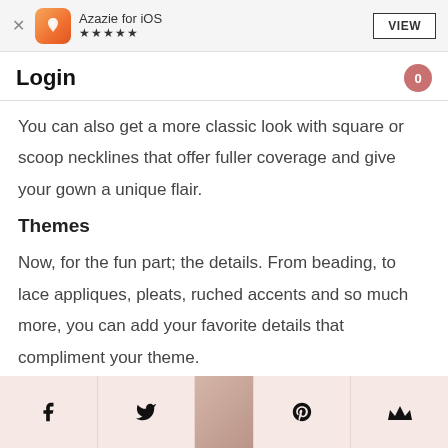Azazie for iOS ★★★★★ VIEW
Login
You can also get a more classic look with square or scoop necklines that offer fuller coverage and give your gown a unique flair.
Themes
Now, for the fun part; the details. From beading, to lace appliques, pleats, ruched accents and so much more, you can add your favorite details that compliment your theme.
Social icons: Facebook, Twitter, [image], Pinterest, Wish